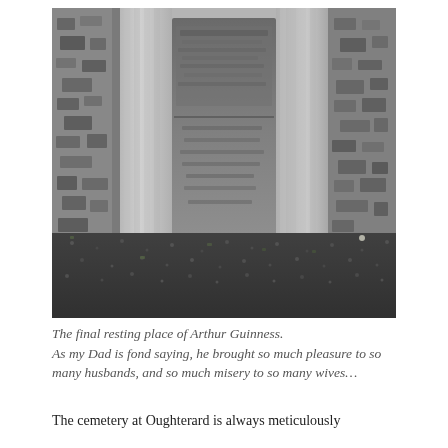[Figure (photo): Photograph of the final resting place of Arthur Guinness. A dark granite gravestone tablet is set between two fluted granite pillars against a stone wall. The ground in front is covered with dark gravel.]
The final resting place of Arthur Guinness. As my Dad is fond saying, he brought so much pleasure to so many husbands, and so much misery to so many wives…
The cemetery at Oughterard is always meticulously